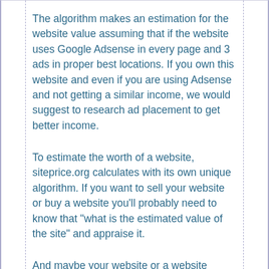The algorithm makes an estimation for the website value assuming that if the website uses Google Adsense in every page and 3 ads in proper best locations. If you own this website and even if you are using Adsense and not getting a similar income, we would suggest to research ad placement to get better income.
To estimate the worth of a website, siteprice.org calculates with its own unique algorithm. If you want to sell your website or buy a website you'll probably need to know that "what is the estimated value of the site" and appraise it.
And maybe your website or a website worths thousands. Maybe you don't even think about to sell your website, but don't miss your chance, calculate your website estimated price and put it your site to catch somebody who may want to